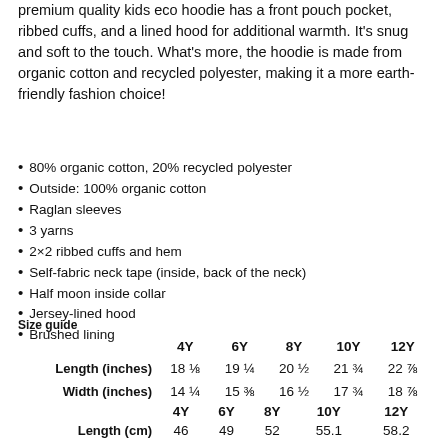premium quality kids eco hoodie has a front pouch pocket, ribbed cuffs, and a lined hood for additional warmth. It's snug and soft to the touch. What's more, the hoodie is made from organic cotton and recycled polyester, making it a more earth-friendly fashion choice!
80% organic cotton, 20% recycled polyester
Outside: 100% organic cotton
Raglan sleeves
3 yarns
2×2 ribbed cuffs and hem
Self-fabric neck tape (inside, back of the neck)
Half moon inside collar
Jersey-lined hood
Brushed lining
Size guide
|  | 4Y | 6Y | 8Y | 10Y | 12Y |
| --- | --- | --- | --- | --- | --- |
| Length (inches) | 18 ⅛ | 19 ¼ | 20 ½ | 21 ¾ | 22 ⅞ |
| Width (inches) | 14 ¼ | 15 ⅜ | 16 ½ | 17 ¾ | 18 ⅞ |
|  | 4Y | 6Y | 8Y | 10Y | 12Y |
| --- | --- | --- | --- | --- | --- |
| Length (cm) | 46 | 49 | 52 | 55.1 | 58.2 |